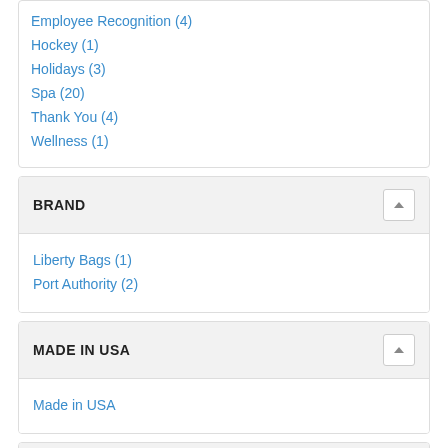Employee Recognition (4)
Hockey (1)
Holidays (3)
Spa (20)
Thank You (4)
Wellness (1)
BRAND
Liberty Bags (1)
Port Authority (2)
MADE IN USA
Made in USA
RUSH SERVICE